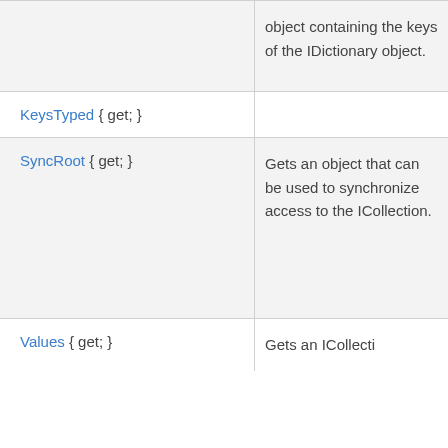| Property | Description |
| --- | --- |
| (continuation) | object containing the keys of the IDictionary object. |
| KeysTyped { get; } |  |
| SyncRoot { get; } | Gets an object that can be used to synchronize access to the ICollection. |
| Values { get; } | Gets an ICollecti... |